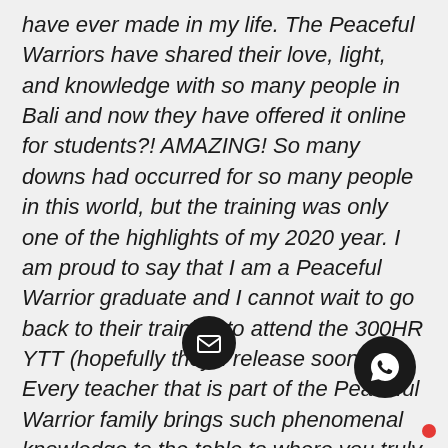have ever made in my life. The Peaceful Warriors have shared their love, light, and knowledge with so many people in Bali and now they have offered it online for students?! AMAZING! So many downs had occurred for so many people in this world, but the training was only one of the highlights of my 2020 year. I am proud to say that I am a Peaceful Warrior graduate and I cannot wait to go back to their training to attend the 300HR YTT (hopefully they'll release soon)! Every teacher that is part of the Peaceful Warrior family brings such phenomenal knowledge to the table to where you truly get many bits and pieces of yoga to help guide you to be your own teacher. I received clarity and growth from things that I never knew that I would grow from, to be seen better, to be shown...
[Figure (other): WhatsApp chat button icon (dark circle with white phone icon and red notification dot)]
[Figure (other): Email/message button icon (dark circle with white envelope icon)]